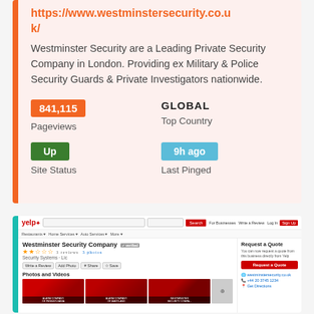https://www.westminstersecurity.co.uk/
Westminster Security are a Leading Private Security Company in London. Providing ex Military & Police Security Guards & Private Investigators nationwide.
841,115
Pageviews
GLOBAL
Top Country
Up
Site Status
9h ago
Last Pinged
[Figure (screenshot): Yelp listing screenshot for Westminster Security Company showing star ratings, photos of alarm company buildings, and a Request a Quote panel on the right side.]